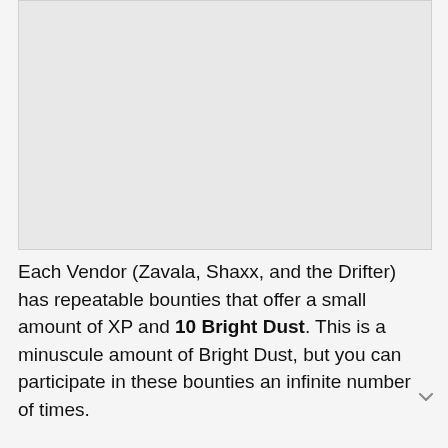[Figure (other): Gray placeholder image area at the top of the page]
Each Vendor (Zavala, Shaxx, and the Drifter) has repeatable bounties that offer a small amount of XP and 10 Bright Dust. This is a minuscule amount of Bright Dust, but you can participate in these bounties an infinite number of times.
Completing bounties will also increase your rank with that Vendor and will progress the Season Pass. So, while this